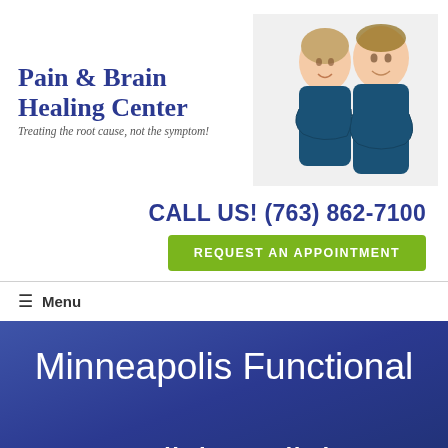[Figure (logo): Pain & Brain Healing Center logo with text and photo of two doctors in blue scrubs]
CALL US! (763) 862-7100
REQUEST AN APPOINTMENT
≡  Menu
Minneapolis Functional Medicine Clinic